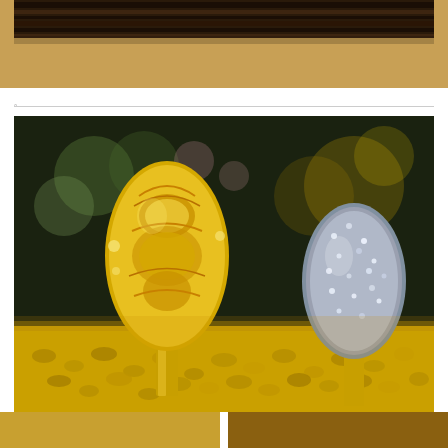[Figure (photo): Partial top view of a dark ornate frame or chocolate bar on a tan/golden background]
[Figure (photo): Two ornate ice cream bars (Magnum art pieces) — one covered in gold baroque decorations, one covered in silver/rhinestone decorations — standing in a bed of pistachios with warm golden lighting]
Magnum art pieces.
[Figure (photo): Bottom strip of another photo, partially visible]